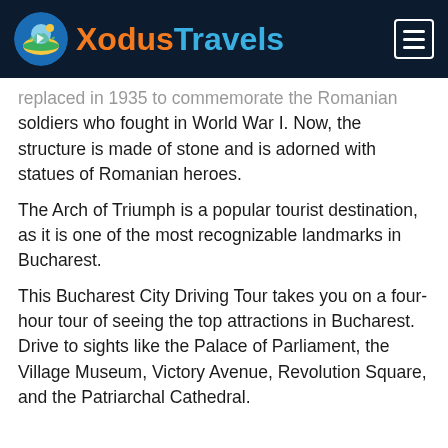XodusTravels
replaced in 1935 to commemorate the Romanian soldiers who fought in World War I. Now, the structure is made of stone and is adorned with statues of Romanian heroes.
The Arch of Triumph is a popular tourist destination, as it is one of the most recognizable landmarks in Bucharest.
This Bucharest City Driving Tour takes you on a four-hour tour of seeing the top attractions in Bucharest. Drive to sights like the Palace of Parliament, the Village Museum, Victory Avenue, Revolution Square, and the Patriarchal Cathedral.